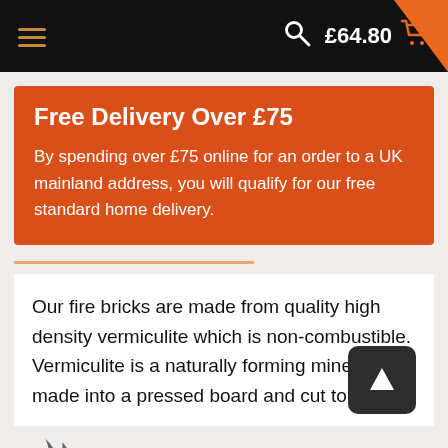£64.80
Free Delivery Over £75
By spending over £75 online for an order to a UK mainland address, you will qualify for our free standard home delivery.
Our fire bricks are made from quality high density vermiculite which is non-combustible. Vermiculite is a naturally forming mineral made into a pressed board and cut to size.
[Figure (logo): Partial flame/fire logo visible at bottom of page]